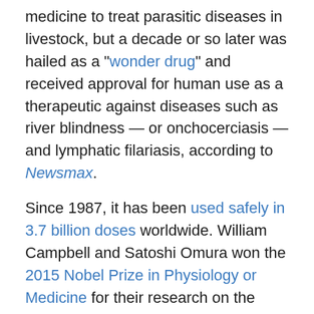medicine to treat parasitic diseases in livestock, but a decade or so later was hailed as a "wonder drug" and received approval for human use as a therapeutic against diseases such as river blindness — or onchocerciasis — and lymphatic filariasis, according to Newsmax.
Since 1987, it has been used safely in 3.7 billion doses worldwide. William Campbell and Satoshi Omura won the 2015 Nobel Prize in Physiology or Medicine for their research on the drug.
Studies show ivermectin is associated with lower COVID-19 death rates, but the FDA — with help from mainstream media — continues to state the drug is ineffective for treating COVID.
© 2022 Children's Health Defense, Inc. This work is